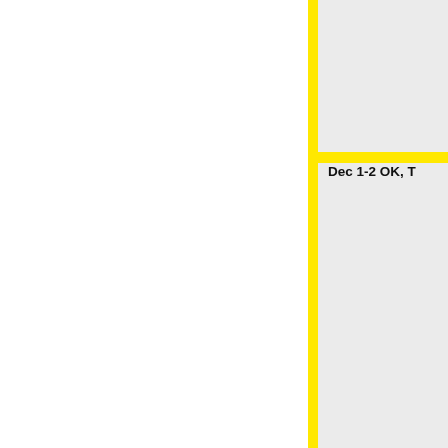Dec 1-2 OK, T
Dec 1-2 SC,
Id) South